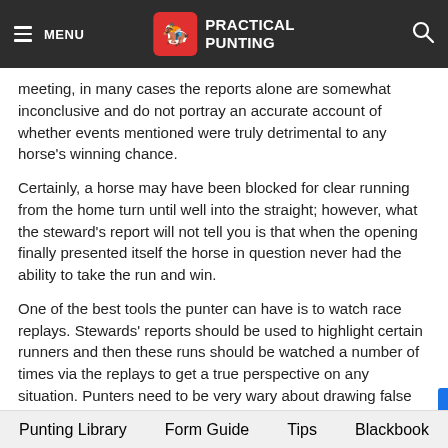MENU | PRACTICAL PUNTING
meeting, in many cases the reports alone are somewhat inconclusive and do not portray an accurate account of whether events mentioned were truly detrimental to any horse's winning chance.
Certainly, a horse may have been blocked for clear running from the home turn until well into the straight; however, what the steward's report will not tell you is that when the opening finally presented itself the horse in question never had the ability to take the run and win.
One of the best tools the punter can have is to watch race replays. Stewards' reports should be used to highlight certain runners and then these runs should be watched a number of times via the replays to get a true perspective on any situation. Punters need to be very wary about drawing false conclusions from stewards' reports alone.
** In next month's edition we will continue on looking at some
Punting Library   Form Guide   Tips   Blackbook